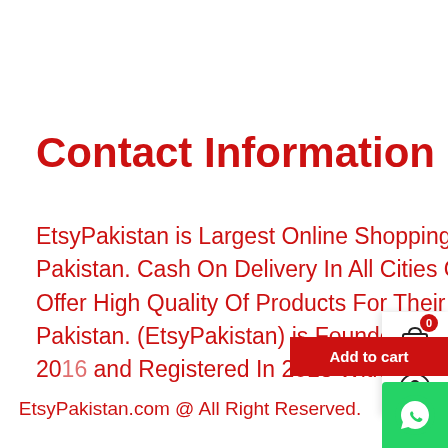Contact Information
EtsyPakistan is Largest Online Shopping Website In Pakistan. Cash On Delivery In All Cities Of Pakistan. Offer High Quality Of Products For Their Customers in Pakistan. (EtsyPakistan) is Founded By Our Team in 2016 and Registered In 2018 With All Regal Certificates.
EtsyPakistan.com @ All Right Reserved.